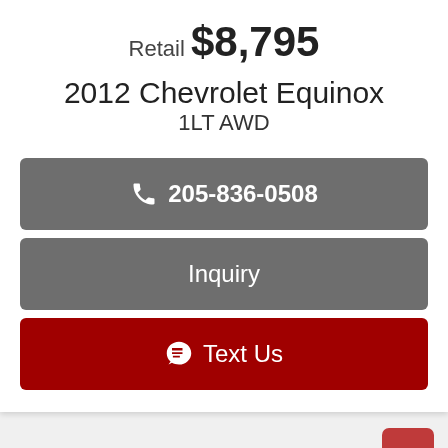Retail $8,795
2012 Chevrolet Equinox 1LT AWD
📞 205-836-0508
Inquiry
💬 Text Us
💬 Text Us